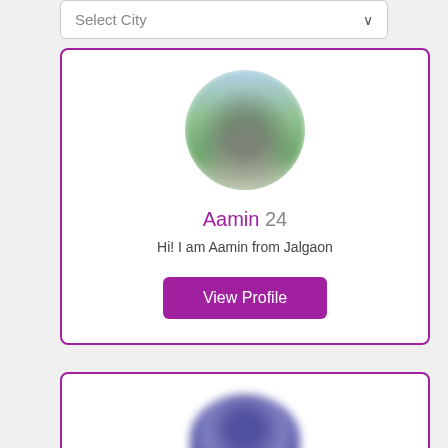Select City
[Figure (photo): Blurred circular profile photo of Aamin showing an outdoor background with greenery]
Aamin 24
Hi! I am Aamin from Jalgaon
View Profile
[Figure (photo): Partial blurred circular profile photo of a second user, cut off at bottom of page]